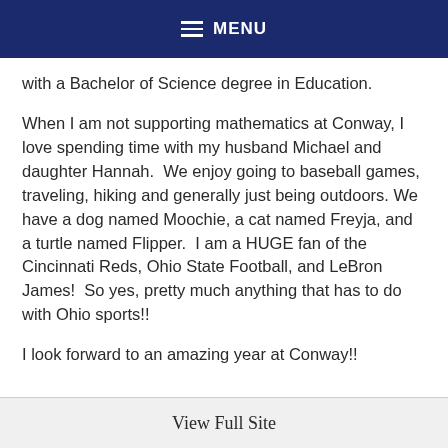MENU
with a Bachelor of Science degree in Education.
When I am not supporting mathematics at Conway, I love spending time with my husband Michael and daughter Hannah.  We enjoy going to baseball games, traveling, hiking and generally just being outdoors. We have a dog named Moochie, a cat named Freyja, and a turtle named Flipper.  I am a HUGE fan of the Cincinnati Reds, Ohio State Football, and LeBron James!  So yes, pretty much anything that has to do with Ohio sports!!
I look forward to an amazing year at Conway!!
View Full Site